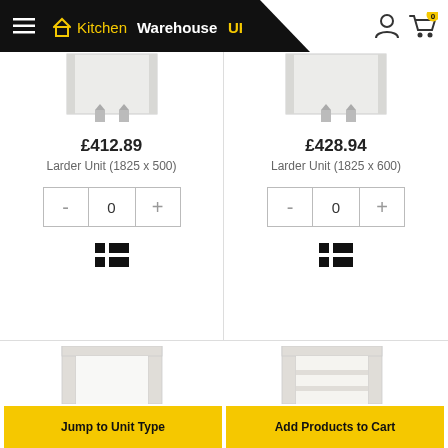KitchenWarehouseUK
£412.89
Larder Unit (1825 x 500)
£428.94
Larder Unit (1825 x 600)
[Figure (photo): White larder unit 1825x500 product image]
[Figure (photo): White larder unit 1825x600 product image]
[Figure (photo): White open larder unit bottom section]
[Figure (photo): White larder unit with shelves bottom section]
Jump to Unit Type
Add Products to Cart